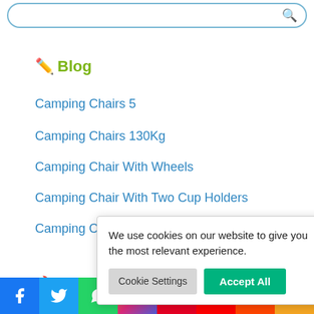[Figure (screenshot): Search bar with rounded border at top of page]
✏️ Blog
Camping Chairs 5
Camping Chairs 130Kg
Camping Chair With Wheels
Camping Chair With Two Cup Holders
Camping Chair With Swivel Table
[Figure (screenshot): Cookie consent popup: 'We use cookies on our website to give you the most relevant experience.' with Cookie Settings and Accept All buttons]
🔥 This Wee...
[Figure (screenshot): Social media share bar with Facebook, Twitter, WhatsApp, Instagram, Pinterest, YouTube, Reddit, Share icons]